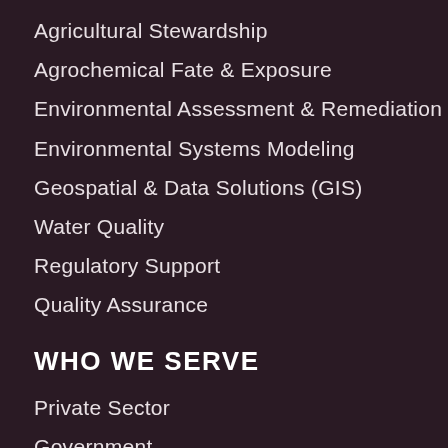Agricultural Stewardship
Agrochemical Fate & Exposure
Environmental Assessment & Remediation
Environmental Systems Modeling
Geospatial & Data Solutions (GIS)
Water Quality
Regulatory Support
Quality Assurance
WHO WE SERVE
Private Sector
Government
NGOs / Nonprofits
HOW WE WORK
Innovation & Creativity